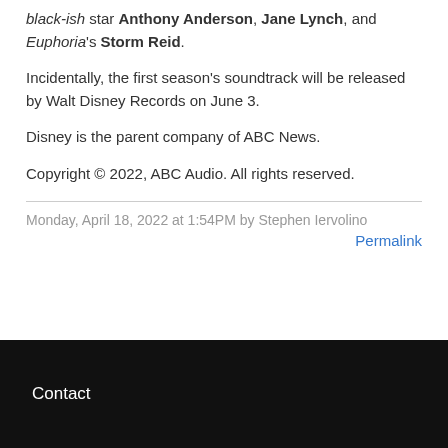black-ish star Anthony Anderson, Jane Lynch, and Euphoria's Storm Reid.
Incidentally, the first season's soundtrack will be released by Walt Disney Records on June 3.
Disney is the parent company of ABC News.
Copyright © 2022, ABC Audio. All rights reserved.
Monday, April 18, 2022 at 1:54PM by Stephen Iervolino
Permalink
Contact